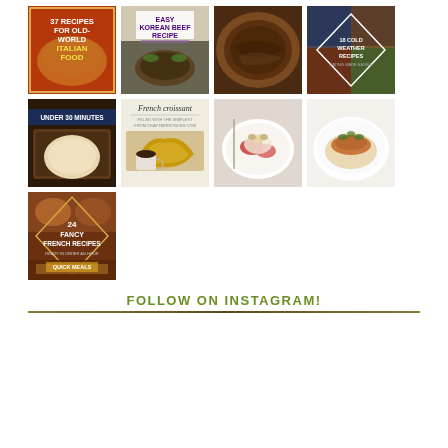[Figure (photo): Grid of 9 food recipe images arranged in 3 rows. Row 1: Italian food recipes book cover, Korean beef recipe card, steak photo, cold weather recipes card. Row 2: Under 30 minutes flatbread photo, French croissant recipe with coffee, eggs benedict or similar dish, plated gourmet dish. Row 3: 24 Fancy French Recipes book cover.]
FOLLOW ON INSTAGRAM!